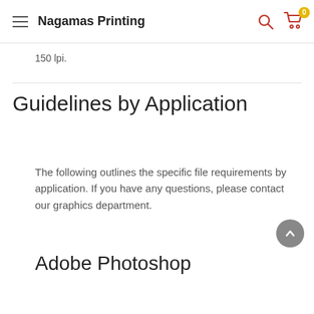Nagamas Printing
150 lpi.
Guidelines by Application
The following outlines the specific file requirements by application. If you have any questions, please contact our graphics department.
Adobe Photoshop